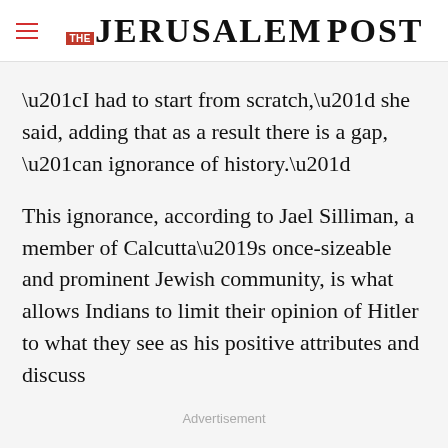THE JERUSALEM POST
“I had to start from scratch,” she said, adding that as a result there is a gap, “an ignorance of history.”
This ignorance, according to Jael Silliman, a member of Calcutta’s once-sizeable and prominent Jewish community, is what allows Indians to limit their opinion of Hitler to what they see as his positive attributes and discuss
Advertisement